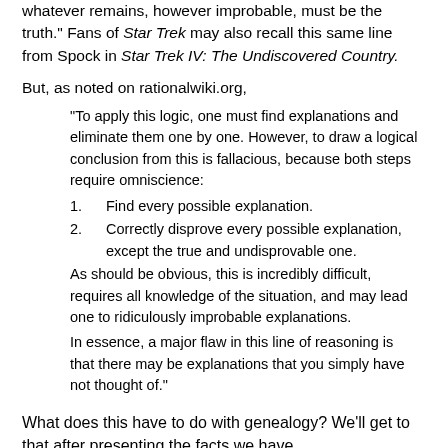whatever remains, however improbable, must be the truth." Fans of Star Trek may also recall this same line from Spock in Star Trek IV: The Undiscovered Country.
But, as noted on rationalwiki.org,
"To apply this logic, one must find explanations and eliminate them one by one. However, to draw a logical conclusion from this is fallacious, because both steps require omniscience:
1. Find every possible explanation.
2. Correctly disprove every possible explanation, except the true and undisprovable one.
As should be obvious, this is incredibly difficult, requires all knowledge of the situation, and may lead one to ridiculously improbable explanations.
In essence, a major flaw in this line of reasoning is that there may be explanations that you simply have not thought of."
What does this have to do with genealogy? We'll get to that after presenting the facts we have.